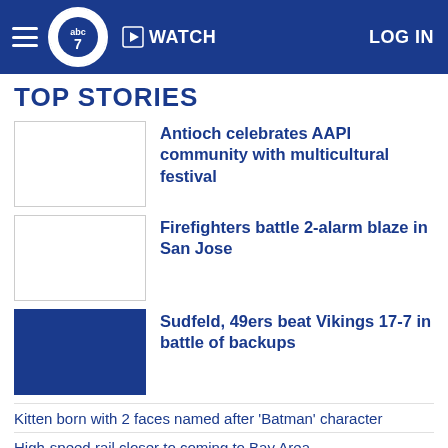ABC7 News — WATCH | LOG IN
TOP STORIES
Antioch celebrates AAPI community with multicultural festival
Firefighters battle 2-alarm blaze in San Jose
Sudfeld, 49ers beat Vikings 17-7 in battle of backups
Kitten born with 2 faces named after 'Batman' character
High-speed rail closer to coming to Bay Area
Blue Diamond recalling almonds after testing for salmonella: